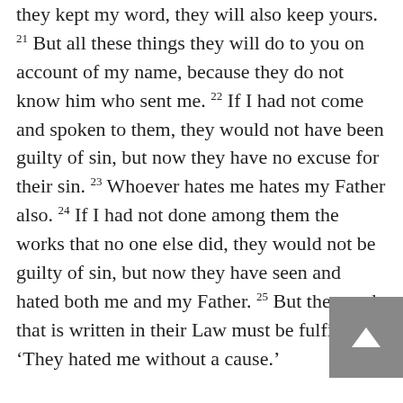they kept my word, they will also keep yours. 21 But all these things they will do to you on account of my name, because they do not know him who sent me. 22 If I had not come and spoken to them, they would not have been guilty of sin, but now they have no excuse for their sin. 23 Whoever hates me hates my Father also. 24 If I had not done among them the works that no one else did, they would not be guilty of sin, but now they have seen and hated both me and my Father. 25 But the word that is written in their Law must be fulfilled: ‘They hated me without a cause.’
26 “But when the Helper comes, whom I will send to you from the Father, the Spirit of truth, who proceeds from the Father, he will bear witness about me. 27 And you also will bear witness,